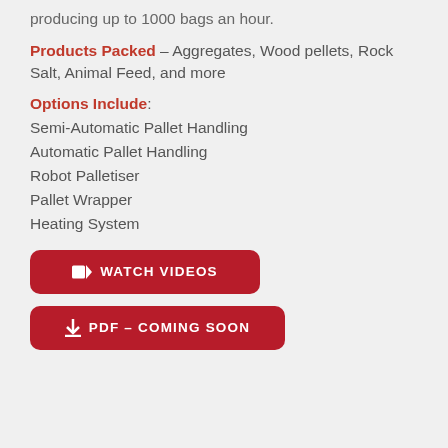producing up to 1000 bags an hour.
Products Packed – Aggregates, Wood pellets, Rock Salt, Animal Feed, and more
Options Include:
Semi-Automatic Pallet Handling
Automatic Pallet Handling
Robot Palletiser
Pallet Wrapper
Heating System
WATCH VIDEOS
PDF – COMING SOON